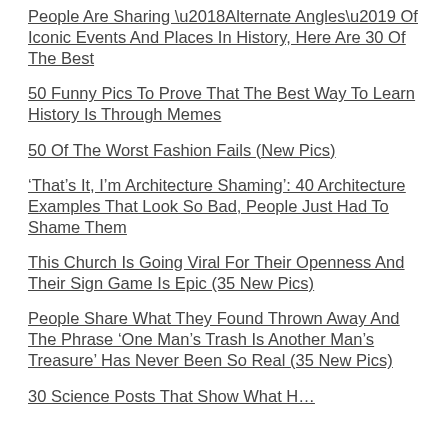People Are Sharing ‘Alternate Angles’ Of Iconic Events And Places In History, Here Are 30 Of The Best
50 Funny Pics To Prove That The Best Way To Learn History Is Through Memes
50 Of The Worst Fashion Fails (New Pics)
‘That’s It, I’m Architecture Shaming’: 40 Architecture Examples That Look So Bad, People Just Had To Shame Them
This Church Is Going Viral For Their Openness And Their Sign Game Is Epic (35 New Pics)
People Share What They Found Thrown Away And The Phrase ‘One Man’s Trash Is Another Man’s Treasure’ Has Never Been So Real (35 New Pics)
30 Science Posts That Show What H…